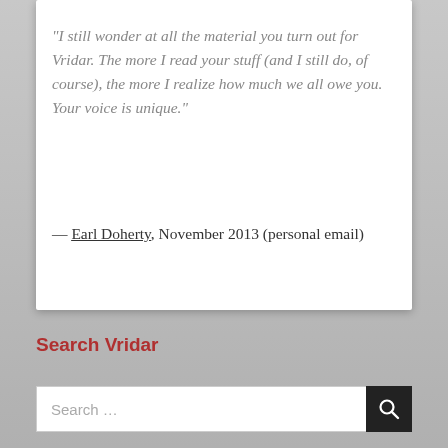"I still wonder at all the material you turn out for Vridar. The more I read your stuff (and I still do, of course), the more I realize how much we all owe you. Your voice is unique."
— Earl Doherty, November 2013 (personal email)
Search Vridar